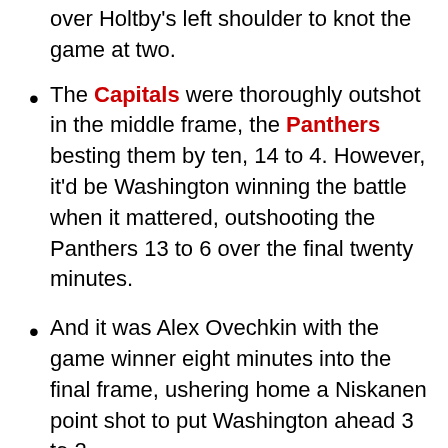over Holtby's left shoulder to knot the game at two.
The Capitals were thoroughly outshot in the middle frame, the Panthers besting them by ten, 14 to 4. However, it'd be Washington winning the battle when it mattered, outshooting the Panthers 13 to 6 over the final twenty minutes.
And it was Alex Ovechkin with the game winner eight minutes into the final frame, ushering home a Niskanen point shot to put Washington ahead 3 to 2.
A scary moment occurred a few minutes later when Daniel Winnik went down and took a Reilly Smith slapshot off the back of his helmet during penalty killing duties. The rugged Washington winger left the game and did not return.
With eighty seconds left in the game Marcus